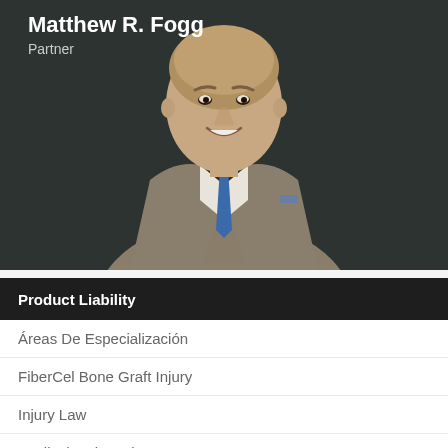[Figure (photo): Professional headshot of Matthew R. Fogg, Partner, wearing a grey suit and blue tie, against a dark background. Name and title overlaid in white text at top left.]
Product Liability
Áreas De Especialización
FiberCel Bone Graft Injury
Injury Law
Medical Malpractice